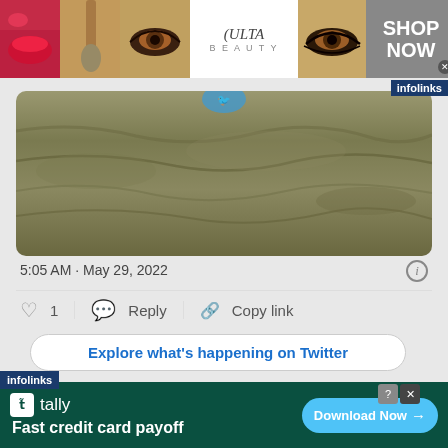[Figure (screenshot): Top banner ad for Ulta Beauty showing makeup images (lips, brush, eye) alongside Ulta logo and 'SHOP NOW' call to action with infolinks badge]
[Figure (photo): Twitter embedded image showing ground/dirt texture, outdoor scene]
5:05 AM · May 29, 2022
♡ 1   Reply   Copy link
Explore what's happening on Twitter
[Figure (screenshot): Bottom banner ad for Tally app: 'Fast credit card payoff' with Download Now button, infolinks badge]